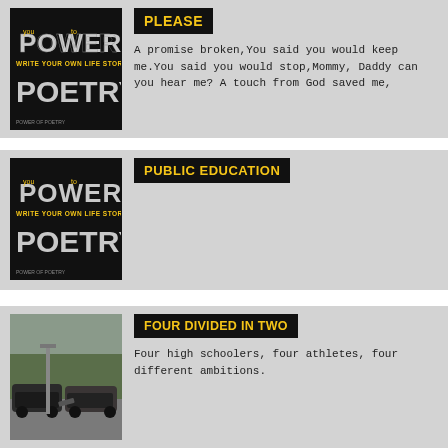[Figure (logo): Power of Poetry logo – black background with stylized text 'POWER TO WRITE YOUR OWN LIFE STORY POETRY' in gold and white letters]
PLEASE
A promise broken,You said you would keep me.You said you would stop,Mommy, Daddy can you hear me? A touch from God saved me,
[Figure (logo): Power of Poetry logo – black background with stylized text 'POWER TO WRITE YOUR OWN LIFE STORY POETRY' in gold and white letters]
PUBLIC EDUCATION
[Figure (photo): Photo of a car accident scene – damaged vehicles on a road with trees in the background]
FOUR DIVIDED IN TWO
Four high schoolers, four athletes, four different ambitions.